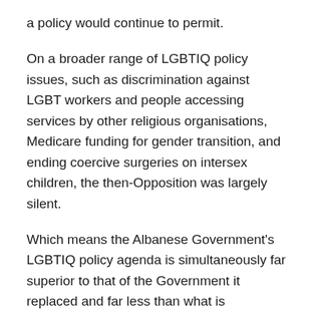a policy would continue to permit.
On a broader range of LGBTIQ policy issues, such as discrimination against LGBT workers and people accessing services by other religious organisations, Medicare funding for gender transition, and ending coercive surgeries on intersex children, the then-Opposition was largely silent.
Which means the Albanese Government's LGBTIQ policy agenda is simultaneously far superior to that of the Government it replaced and far less than what is necessary to deliver genuine equality.
Our first challenge therefore is to push the new Government to go much, much further in its policy commitments.